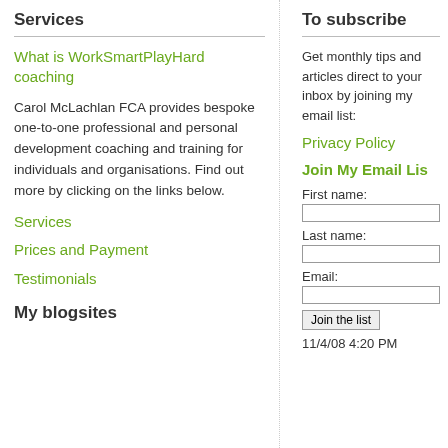Services
What is WorkSmartPlayHard coaching
Carol McLachlan FCA provides bespoke one-to-one professional and personal development coaching and training for individuals and organisations. Find out more by clicking on the links below.
Services
Prices and Payment
Testimonials
My blogsites
To subscribe
Get monthly tips and articles direct to your inbox by joining my email list:
Privacy Policy
Join My Email List
First name:
Last name:
Email:
Join the list
11/4/08 4:20 PM